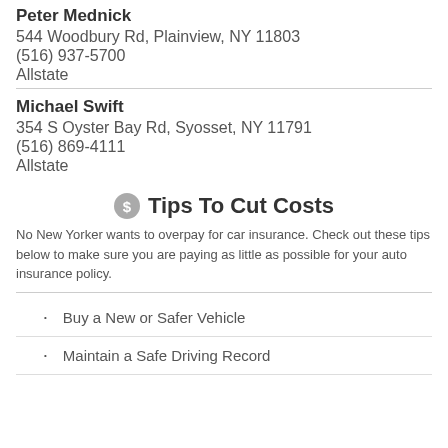Peter Mednick
544 Woodbury Rd, Plainview, NY 11803
(516) 937-5700
Allstate
Michael Swift
354 S Oyster Bay Rd, Syosset, NY 11791
(516) 869-4111
Allstate
Tips To Cut Costs
No New Yorker wants to overpay for car insurance. Check out these tips below to make sure you are paying as little as possible for your auto insurance policy.
Buy a New or Safer Vehicle
Maintain a Safe Driving Record